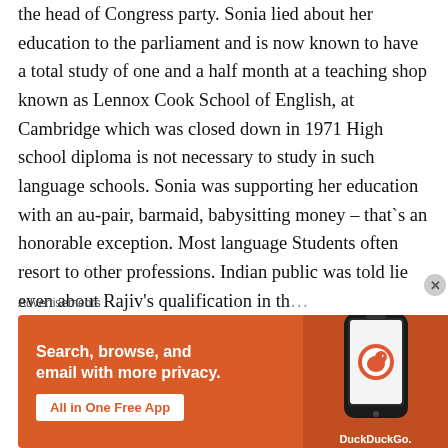the head of Congress party. Sonia lied about her education to the parliament and is now known to have a total study of one and a half month at a teaching shop known as Lennox Cook School of English, at Cambridge which was closed down in 1971 High school diploma is not necessary to study in such language schools. Sonia was supporting her education with an au-pair, barmaid, babysitting money – that`s an honorable exception. Most language Students often resort to other professions. Indian public was told lie even about Rajiv's qualification in th
Advertisements
[Figure (other): DuckDuckGo advertisement banner with orange background. Text reads: Search, browse, and email with more privacy. All in One Free App. Shows a smartphone with DuckDuckGo logo.]